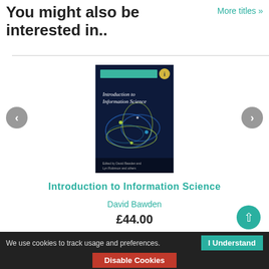You might also be interested in..
More titles »
[Figure (illustration): Book cover of 'Introduction to Information Science' — dark navy background with abstract network/node graphic in blue and yellow-green, teal banner at top, small circular icon top right, author names at bottom.]
Introduction to Information Science
David Bawden
£44.00
We use cookies to track usage and preferences.
I Understand
Disable Cookies